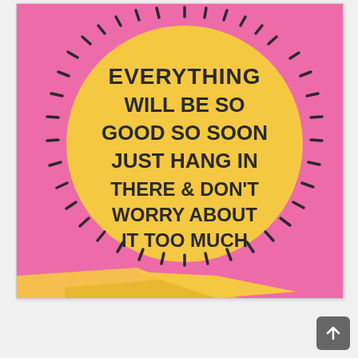[Figure (illustration): A pink background with a yellow circle (sun) in the center surrounded by short dash-like rays around the perimeter. The sun contains hand-lettered text reading: EVERYTHING WILL BE SO GOOD SO SOON JUST HANG IN THERE & DON'T WORRY ABOUT IT TOO MUCH. At the bottom of the image the paper appears to curl/fold revealing yellow underneath.]